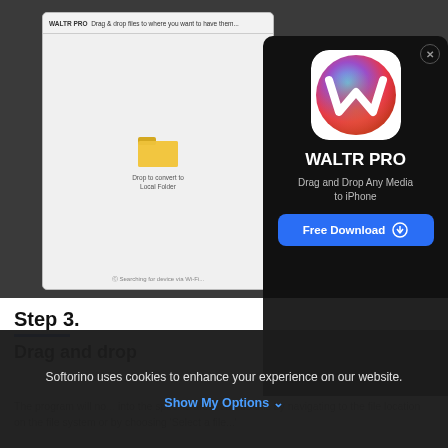[Figure (screenshot): Screenshot of WALTR PRO application window showing 'Drag & drop files to where you want to have them...' title bar, a folder icon labeled 'Drop to convert to Local Folder', and a 'Searching for device via Wi-Fi...' status message. Overlaid by a WALTR PRO promotional popup with app icon, title, subtitle 'Drag and Drop Any Media to iPhone', and a blue 'Free Download' button.]
Step 3.
Drag and drop
The program will no... into the specific are... can do this by navigating to the file location on the file system or by choosing 'Select a file...'
Softorino uses cookies to enhance your experience on our website.
Show My Options ∨